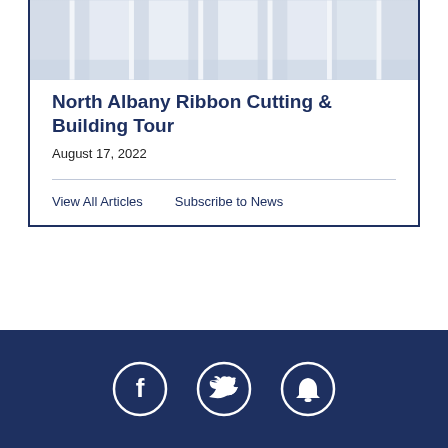[Figure (photo): Interior building photo showing bright white/light grey room with columns or windows]
North Albany Ribbon Cutting & Building Tour
August 17, 2022
View All Articles   Subscribe to News
[Figure (other): Footer with three social media icons: Facebook, Twitter, and a notification bell icon, white circles on dark navy background]